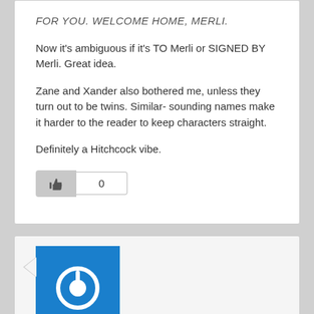FOR YOU. WELCOME HOME, MERLI.
Now it's ambiguous if it's TO Merli or SIGNED BY Merli. Great idea.
Zane and Xander also bothered me, unless they turn out to be twins. Similar- sounding names make it harder to the reader to keep characters straight.
Definitely a Hitchcock vibe.
Joanne on May 26, 2020 at 11:04 am said: